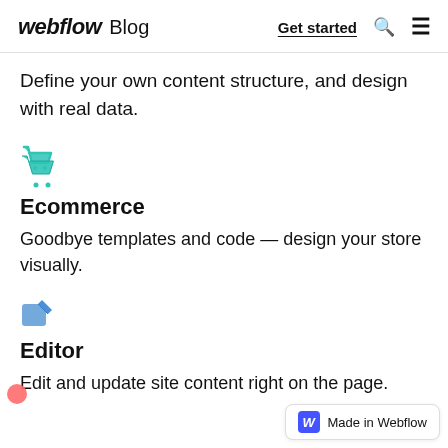webflow Blog  Get started
Define your own content structure, and design with real data.
[Figure (illustration): Green shopping cart icon]
Ecommerce
Goodbye templates and code — design your store visually.
[Figure (illustration): Blue pencil/editor icon]
Editor
Edit and update site content right on the page.
[Figure (logo): Made in Webflow badge with W logo]